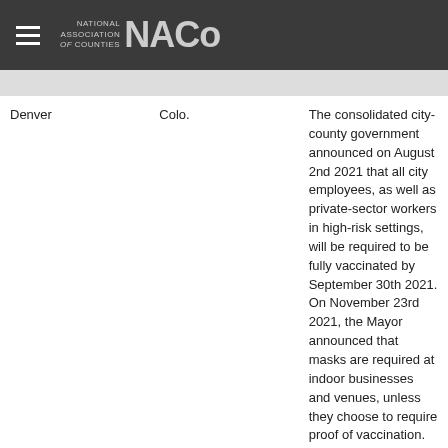NACo - National Association of Counties
| County | State | Description |
| --- | --- | --- |
| Denver | Colo. | The consolidated city-county government announced on August 2nd 2021 that all city employees, as well as private-sector workers in high-risk settings, will be required to be fully vaccinated by September 30th 2021. On November 23rd 2021, the Mayor announced that masks are required at indoor businesses and venues, unless they choose to require proof of vaccination. Starting on March 5th 2022, government employees, teachers, contractors, and workers in high risk settings are no longer required to be vaccinated. |
| Miami-Dade | Fla. | On August 5th 2021, the County Mayor announced that county employees must show proof of COVID vaccination or get tested weekly, starting in August 16th 2021. |
| Orange | Fla. | Mayor Jerry Deming on July 29th 2021 announced county employees need to be fully vaccinated by the end of September 2021 unless they have a religious or medical exemption. |
|  |  | County employees would have to be vaccinated by November 10th 2021, unless |